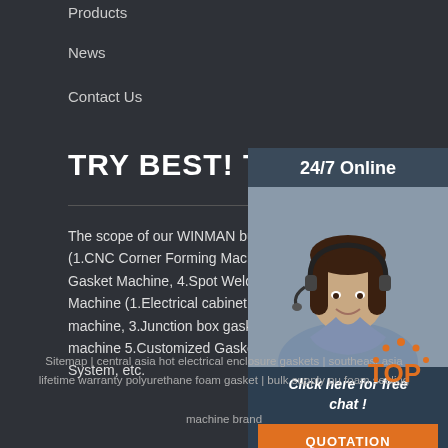Products
News
Contact Us
TRY BEST! TO BE NO.1
[Figure (photo): Customer service representative wearing headset, smiling, with 24/7 Online label and chat/quotation call to action]
The scope of our WINMAN business with I.Sheet Me (1.CNC Corner Forming Machine, 2.Press Brake Mac Gasket Machine, 4.Spot Welding Machine, etc.) II.PU Machine (1.Electrical cabinet gasket machine, 2.Air f machine, 3.Junction box gasket machine 4.PU gasket machine 5.Customized Gasket Seal Solution 6.Robot System, etc.
Sitemap | central asia hot electrical enclosure gaskets | southeast asia lifetime warranty polyurethane foam gasket | bulk supply pu foam sealing machine brand